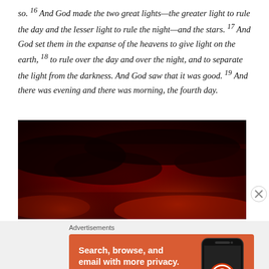so. 16 And God made the two great lights—the greater light to rule the day and the lesser light to rule the night—and the stars. 17 And God set them in the expanse of the heavens to give light on the earth, 18 to rule over the day and over the night, and to separate the light from the darkness. And God saw that it was good. 19 And there was evening and there was morning, the fourth day.
[Figure (photo): A dramatic red and dark sky with clouds, resembling a fiery sunset or cosmic scene.]
Advertisements
[Figure (screenshot): DuckDuckGo advertisement: orange background with white bold text reading 'Search, browse, and email with more privacy.' and 'All in One Free App' button, alongside an image of a smartphone with DuckDuckGo logo.]